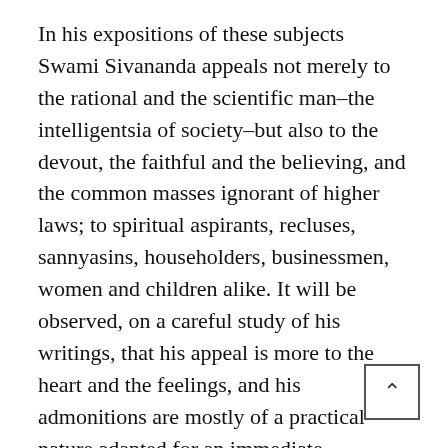In his expositions of these subjects Swami Sivananda appeals not merely to the rational and the scientific man–the intelligentsia of society–but also to the devout, the faithful and the believing, and the common masses ignorant of higher laws; to spiritual aspirants, recluses, sannyasins, householders, businessmen, women and children alike. It will be observed, on a careful study of his writings, that his appeal is more to the heart and the feelings, and his admonitions are mostly of a practical nature adapted for an immediate application in the day-to-day life of man belonging to every class of society.
His works are, strictly speaking, comprehensive gospels on the different yogas: e.g. (1) Jnana yoga (the philosophical technique of the rational and the scientific intellect in unravelling the secrets of nature